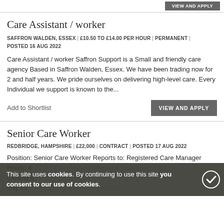Care Assistant / worker
SAFFRON WALDEN, ESSEX | £10.50 TO £14.00 PER HOUR | PERMANENT | POSTED 16 AUG 2022
Care Assistant / worker Saffron Support is a Small and friendly care agency Based in Saffron Walden, Essex. We have been trading now for 2 and half years. We pride ourselves on delivering high-level care. Every Individual we support is known to the...
Add to Shortlist
VIEW AND APPLY
Senior Care Worker
REDBRIDGE, HAMPSHIRE | £22,000 | CONTRACT | POSTED 17 AUG 2022
Position: Senior Care Worker Reports to: Registered Care Manager Hours: 4... Vacancies: 10 Closing date... and between any fully fur... training and you&rsquo;ll be paid to...
This site uses cookies. By continuing to use this site you consent to our use of cookies.